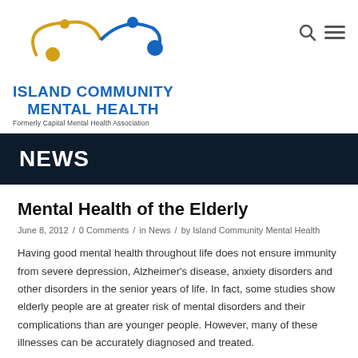[Figure (logo): Island Community Mental Health logo with two abstract figures in gold and blue arcs, with organization name below]
NEWS
Mental Health of the Elderly
June 8, 2012  /  0 Comments  /  in News  /  by Island Community Mental Health
Having good mental health throughout life does not ensure immunity from severe depression, Alzheimer's disease, anxiety disorders and other disorders in the senior years of life. In fact, some studies show elderly people are at greater risk of mental disorders and their complications than are younger people. However, many of these illnesses can be accurately diagnosed and treated.